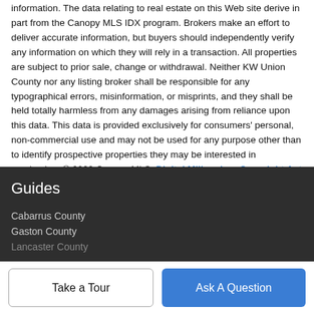information. The data relating to real estate on this Web site derive in part from the Canopy MLS IDX program. Brokers make an effort to deliver accurate information, but buyers should independently verify any information on which they will rely in a transaction. All properties are subject to prior sale, change or withdrawal. Neither KW Union County nor any listing broker shall be responsible for any typographical errors, misinformation, or misprints, and they shall be held totally harmless from any damages arising from reliance upon this data. This data is provided exclusively for consumers' personal, non-commercial use and may not be used for any purpose other than to identify prospective properties they may be interested in purchasing. © 2022 Canopy MLS. Digital Millennium Copyright Act
Guides
Cabarrus County
Gaston County
Lancaster County